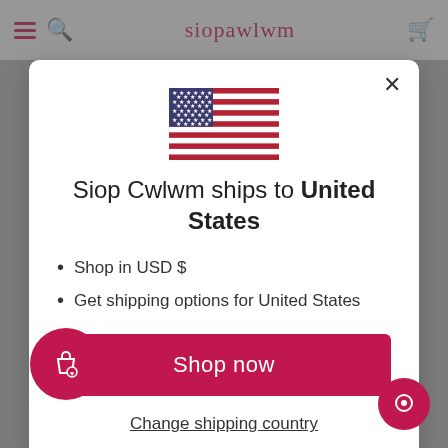siopawlwm
[Figure (screenshot): Modal dialog showing US flag, shipping info for United States, Shop now button, and Change shipping country link]
Siop Cwlwm ships to United States
Shop in USD $
Get shipping options for United States
Shop now
Change shipping country
Delivery aim 5-7 working days*
No signature required